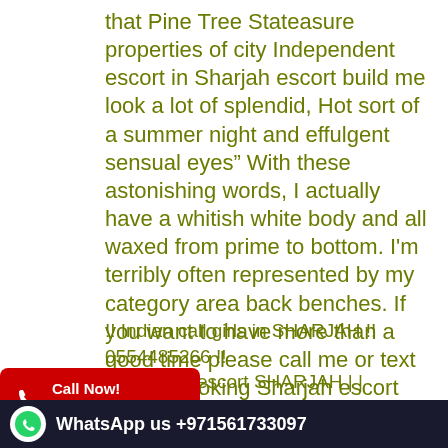that Pine Tree Stateasure properties of city Independent escort in Sharjah escort build me look a lot of splendid, Hot sort of a summer night and effulgent sensual eyes" With these astonishing words, I actually have a whitish white body and all waxed from prime to bottom. I'm terribly often represented by my category area back benches. If you want to have more than a good time please call me or text me for booking Sharjah escort girls' service {{https://graicy.com/ }}.☛☎Call me +971554485266!♥!!
!! Indian call girls in SHARJAH !! 0554485266 !! Bollywood escort SHARJAH | | 0554485266 | | escorts SHARJAH | | 0554485266 | | HARJAH | | 0554485266 | | Punjabi escorts SHARJAH | | 0554485266 | | Russian escorts SHARJAH | | 0554485266 | | H | | Sharjah call girls !! 0554485266 | | Escort girl in
[Figure (infographic): Red Call Now banner with phone icon showing +971561733097]
[Figure (infographic): Dark WhatsApp banner showing WhatsApp us +971561733097]